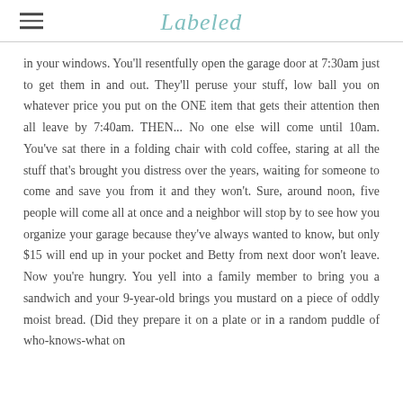Labeled
in your windows. You'll resentfully open the garage door at 7:30am just to get them in and out. They'll peruse your stuff, low ball you on whatever price you put on the ONE item that gets their attention then all leave by 7:40am. THEN... No one else will come until 10am. You've sat there in a folding chair with cold coffee, staring at all the stuff that's brought you distress over the years, waiting for someone to come and save you from it and they won't. Sure, around noon, five people will come all at once and a neighbor will stop by to see how you organize your garage because they've always wanted to know, but only $15 will end up in your pocket and Betty from next door won't leave. Now you're hungry. You yell into a family member to bring you a sandwich and your 9-year-old brings you mustard on a piece of oddly moist bread. (Did they prepare it on a plate or in a random puddle of who-knows-what on